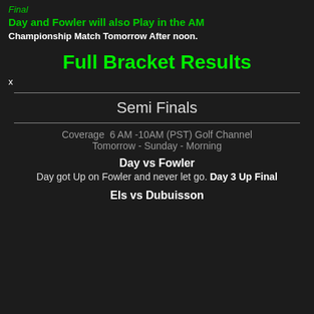Final
Day and Fowler will also Play in the AM
Championship Match Tomorrow After noon.
Full Bracket Results
x
Semi Finals
Coverage 6 AM -10AM (PST) Golf Channel
Tomorrow - Sunday - Morning
Day vs Fowler
Day got Up on Fowler and never let go. Day 3 Up Final
Els vs Dubuisson